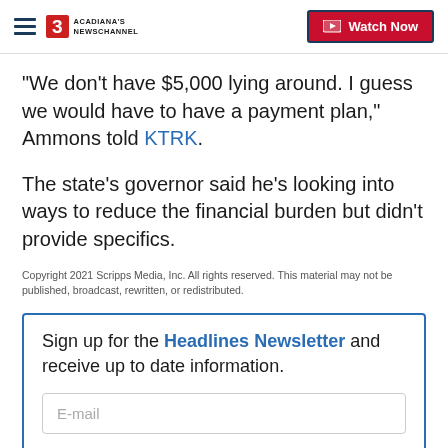Acadiana's Newschannel | Watch Now
"We don't have $5,000 lying around. I guess we would have to have a payment plan," Ammons told KTRK.
The state's governor said he's looking into ways to reduce the financial burden but didn't provide specifics.
Copyright 2021 Scripps Media, Inc. All rights reserved. This material may not be published, broadcast, rewritten, or redistributed.
Sign up for the Headlines Newsletter and receive up to date information.